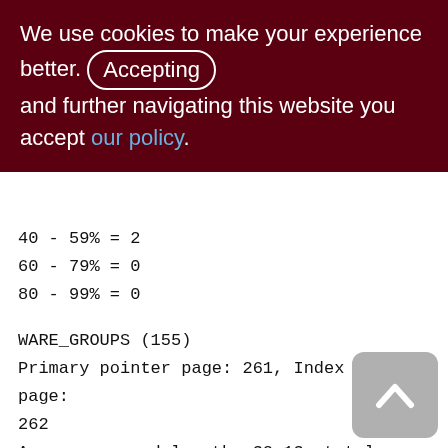We use cookies to make your experience better. By Accepting and further navigating this website you accept our policy.
40 - 59% = 2
60 - 79% = 0
80 - 99% = 0
WARE_GROUPS (155)
Primary pointer page: 261, Index root page: 262
Average record length: 32.13, total records: 8
Average version length: 0.00, total versions: 0, max versions: 0
Data pages: 1, data page slots: 1, average fill: 5%